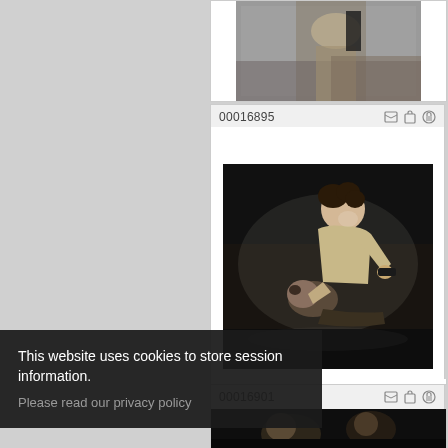[Figure (screenshot): Photo gallery screenshot showing image cards with IDs 00016895 and 00016901. Card for 00016895 shows two people in a dramatic theater scene. Bottom of page shows a cookie consent banner.]
00016895
[Figure (photo): Theater production photo showing two men in a dramatic struggle scene, one leaning over the other, dramatic lighting on dark stage.]
00016901
This website uses cookies to store session information.
Please read our privacy policy